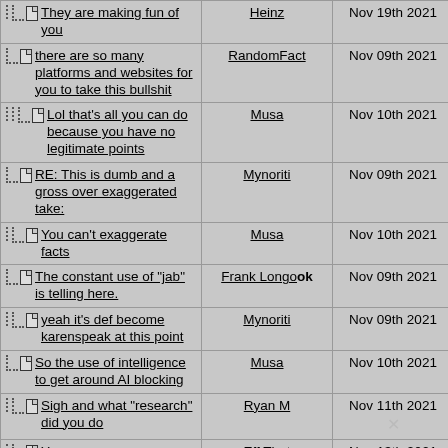| Thread/Comment | Author | Date | # |
| --- | --- | --- | --- |
| They are making fun of you | Heinz | Nov 19th 2021 | 103 |
| there are so many platforms and websites for you to take this bullshit | RandomFact | Nov 09th 2021 | 84 |
| Lol that's all you can do because you have no legitimate points | Musa | Nov 10th 2021 | 95 |
| RE: This is dumb and a gross over exaggerated take: | Mynoriti | Nov 09th 2021 | 85 |
| You can't exaggerate facts | Musa | Nov 10th 2021 | 96 |
| The constant use of "jab" is telling here. | Frank Longook | Nov 09th 2021 | 86 |
| yeah it's def become karenspeak at this point | Mynoriti | Nov 09th 2021 | 87 |
| So the use of intelligence to get around AI blocking | Musa | Nov 10th 2021 | 97 |
| Sigh and what "research" did you do | Ryan M | Nov 11th 2021 | 99 |
| You | Eff That | Nov 13th 2021 | 102 |